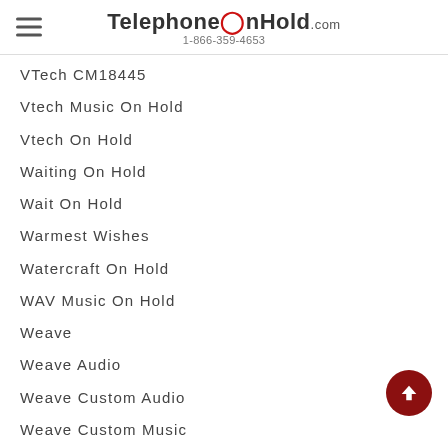TelephoneOnHold.com 1-866-359-4653
VTech CM18445
Vtech Music On Hold
Vtech On Hold
Waiting On Hold
Wait On Hold
Warmest Wishes
Watercraft On Hold
WAV Music On Hold
Weave
Weave Audio
Weave Custom Audio
Weave Custom Music